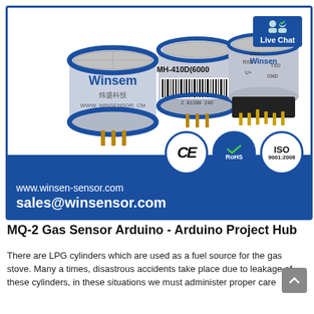[Figure (photo): Product advertisement banner for Winsen gas sensors. Shows three cylindrical MQ/MH-series gas sensor modules (branded 'Winsen', model MH-410D(6000)), white background photo area, with CE, RoHS, and ISO 9001:2008 certification logos, and a Live Chat badge in the top-right corner. Contact info: www.winsen-sensor.com and sales@winsensor.com on blue background.]
MQ-2 Gas Sensor Arduino - Arduino Project Hub
There are LPG cylinders which are used as a fuel source for the gas stove. Many a times, disastrous accidents take place due to leakage of these cylinders, in these situations we must administer proper care